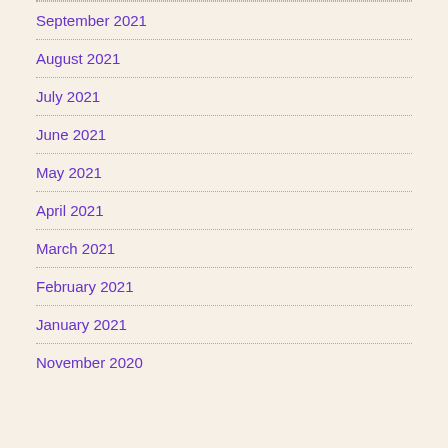September 2021
August 2021
July 2021
June 2021
May 2021
April 2021
March 2021
February 2021
January 2021
November 2020